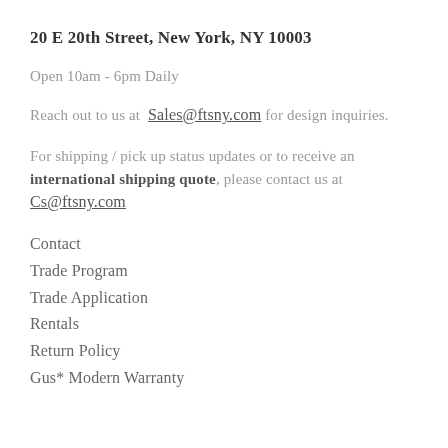20 E 20th Street, New York, NY 10003
Open 10am - 6pm Daily
Reach out to us at Sales@ftsny.com for design inquiries.
For shipping / pick up status updates or to receive an international shipping quote, please contact us at Cs@ftsny.com
Contact
Trade Program
Trade Application
Rentals
Return Policy
Gus* Modern Warranty